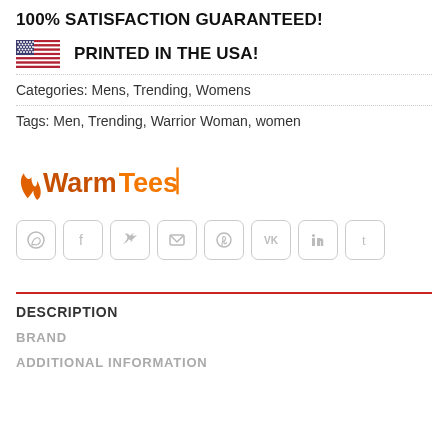100% SATISFACTION GUARANTEED!
PRINTED IN THE USA!
Categories: Mens, Trending, Womens
Tags: Men, Trending, Warrior Woman, women
[Figure (logo): WarmTees logo with flame icon, orange and dark orange text]
[Figure (other): Row of social share icon buttons: WhatsApp, Facebook, Twitter, Email, Pinterest, VK, LinkedIn, Tumblr]
DESCRIPTION
BRAND
ADDITIONAL INFORMATION